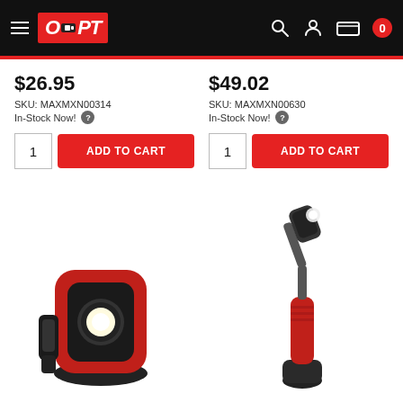[Figure (logo): OPT logo on black navigation header with hamburger menu and icons for search, user, cart showing 0]
$26.95
SKU: MAXMXN00314
In-Stock Now!
ADD TO CART
$49.02
SKU: MAXMXN00630
In-Stock Now!
ADD TO CART
[Figure (photo): Red and black compact COB LED work light with magnetic base]
[Figure (photo): Black and red flexible neck LED inspection light / pen light with magnetic base]